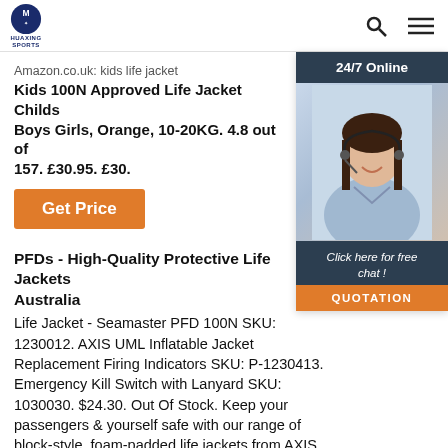HUAXING SPORTS
Amazon.co.uk: kids life jacket
Kids 100N Approved Life Jacket Childs Boys Girls, Orange, 10-20KG. 4.8 out of 157. £30.95. £30.
Get Price
[Figure (photo): Customer support agent with headset, 24/7 Online chat widget with QUOTATION button]
PFDs - High-Quality Protective Life Jackets Australia
Life Jacket - Seamaster PFD 100N SKU: 1230012. AXIS UML Inflatable Jacket Replacement Firing Indicators SKU: P-1230413. Emergency Kill Switch with Lanyard SKU: 1030030. $24.30. Out Of Stock. Keep your passengers & yourself safe with our range of block-style, foam-padded life jackets from AXIS. Life jacket levels include 50, 50S, 50N, 100N and